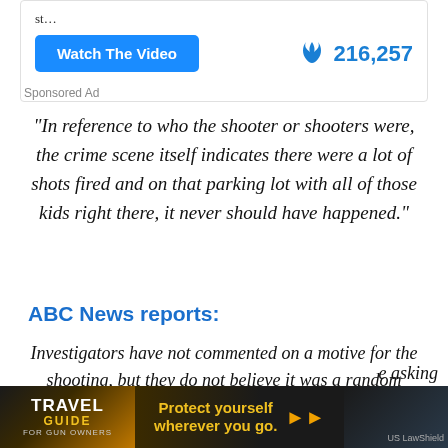[Figure (screenshot): Ad box with 'Watch The Video' blue button and fire emoji count of 216,257]
Sponsored Ad
“In reference to who the shooter or shooters were, the crime scene itself indicates there were a lot of shots fired and on that parking lot with all of those kids right there, it never should have happened.”
ABC News reports:
Investigators have not commented on a motive for the shooting, but they do not believe it was a random attack, officials said, adding they believe somebody
e asking
[Figure (screenshot): Travel Guide For Gun Owners advertisement banner with 'Protect yourself wherever you go.' and US LawShield branding]